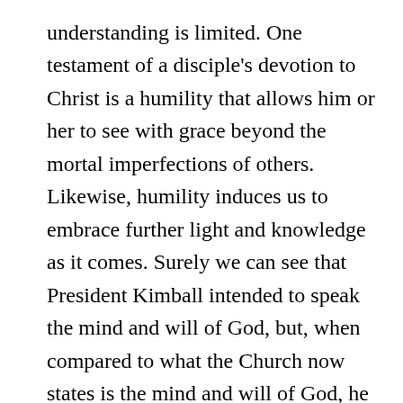understanding is limited. One testament of a disciple's devotion to Christ is a humility that allows him or her to see with grace beyond the mortal imperfections of others. Likewise, humility induces us to embrace further light and knowledge as it comes. Surely we can see that President Kimball intended to speak the mind and will of God, but, when compared to what the Church now states is the mind and will of God, he fell short even though he was speaking with the authority of his office as President of the Church. Our history has many similar disparities between what a president of the Church once proclaimed as God's word and what we now teach. Brigham Young, for instance, made it very clear that he understood one man/one woman was not the order of Heaven.